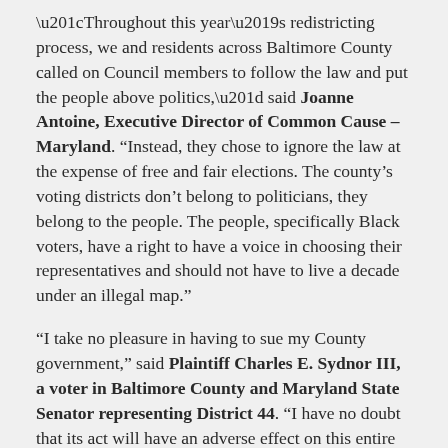“Throughout this year’s redistricting process, we and residents across Baltimore County called on Council members to follow the law and put the people above politics,” said Joanne Antoine, Executive Director of Common Cause – Maryland. “Instead, they chose to ignore the law at the expense of free and fair elections. The county’s voting districts don’t belong to politicians, they belong to the people. The people, specifically Black voters, have a right to have a voice in choosing their representatives and should not have to live a decade under an illegal map.”
“I take no pleasure in having to sue my County government,” said Plaintiff Charles E. Sydnor III, a voter in Baltimore County and Maryland State Senator representing District 44. “I have no doubt that its act will have an adverse effect on this entire County for years to come. It pains me that in 2021 we still find ourselves fighting to protect the vote...”